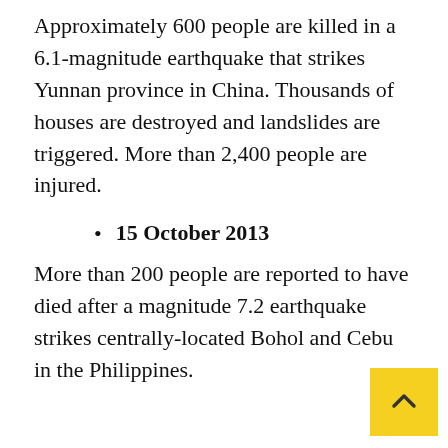Approximately 600 people are killed in a 6.1-magnitude earthquake that strikes Yunnan province in China. Thousands of houses are destroyed and landslides are triggered. More than 2,400 people are injured.
15 October 2013
More than 200 people are reported to have died after a magnitude 7.2 earthquake strikes centrally-located Bohol and Cebu in the Philippines.